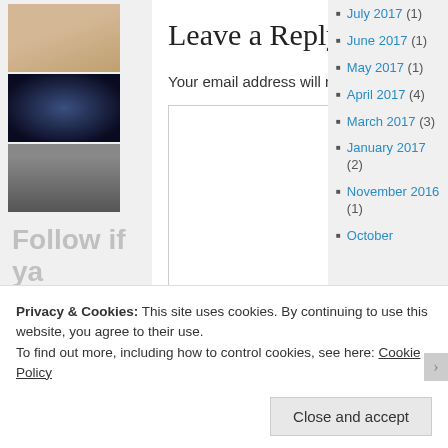[Figure (photo): Three stacked photos: a man in white shirt, a dark blue sci-fi/night scene, and a person in face paint/clown mask]
Follow if ya wanna...
No pressure precious, pero si quiere(s) follow me it could be totez sweet!
Leave a Reply
Your email address will not be published. Required fields are marked *
July 2017 (1)
June 2017 (1)
May 2017 (1)
April 2017 (4)
March 2017 (3)
January 2017 (2)
November 2016 (1)
October
Privacy & Cookies: This site uses cookies. By continuing to use this website, you agree to their use.
To find out more, including how to control cookies, see here: Cookie Policy
Close and accept